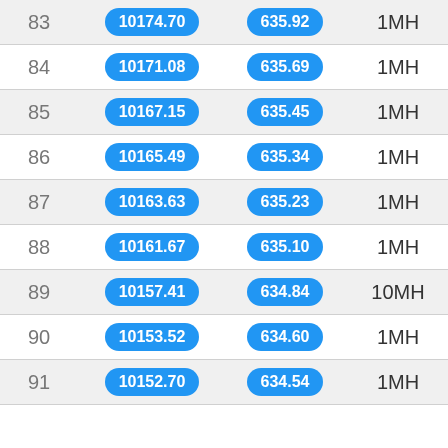| # | Value1 | Value2 | Type | Extra |
| --- | --- | --- | --- | --- |
| 83 | 10174.70 | 635.92 | 1MH |  |
| 84 | 10171.08 | 635.69 | 1MH |  |
| 85 | 10167.15 | 635.45 | 1MH |  |
| 86 | 10165.49 | 635.34 | 1MH |  |
| 87 | 10163.63 | 635.23 | 1MH |  |
| 88 | 10161.67 | 635.10 | 1MH |  |
| 89 | 10157.41 | 634.84 | 10MH | 9 |
| 90 | 10153.52 | 634.60 | 1MH |  |
| 91 | 10152.70 | 634.54 | 1MH |  |